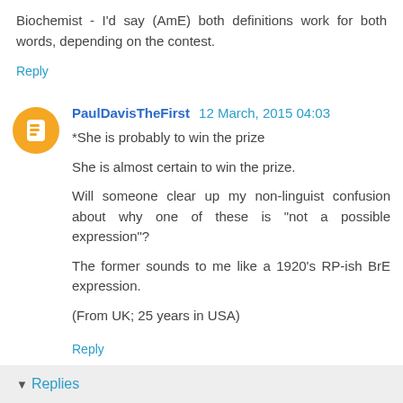Biochemist - I'd say (AmE) both definitions work for both words, depending on the contest.
Reply
PaulDavisTheFirst  12 March, 2015 04:03
*She is probably to win the prize

She is almost certain to win the prize.

Will someone clear up my non-linguist confusion about why one of these is "not a possible expression"?

The former sounds to me like a 1920's RP-ish BrE expression.

(From UK; 25 years in USA)
Reply
▾ Replies